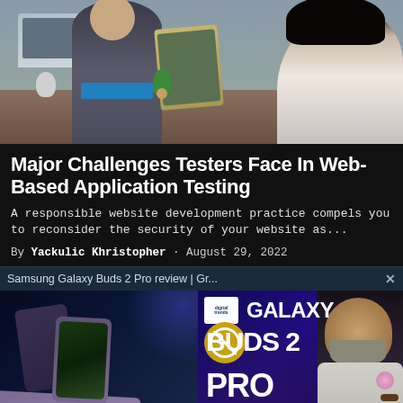[Figure (photo): Photo of people working at a desk with laptops and tablets in an office/classroom setting]
Major Challenges Testers Face In Web-Based Application Testing
A responsible website development practice compels you to reconsider the security of your website as...
By Yackulic Khristopher · August 29, 2022
Samsung Galaxy Buds 2 Pro review | Gr...
[Figure (screenshot): Screenshot of a Samsung Galaxy Buds 2 Pro video review showing the product branding with a reviewer holding the earbuds, overlaid on a Samsung device promotion image]